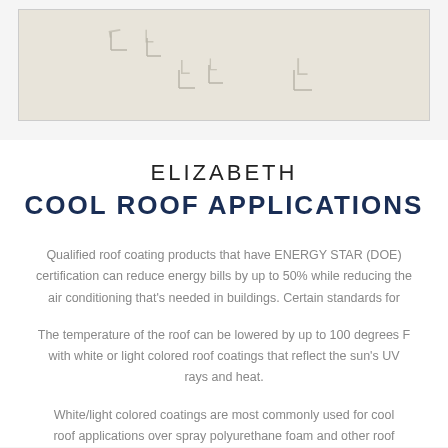[Figure (photo): A beige/sandy background photo showing bird footprints or small L-shaped marks in sand or snow, with a light colored textured surface.]
ELIZABETH
COOL ROOF APPLICATIONS
Qualified roof coating products that have ENERGY STAR (DOE) certification can reduce energy bills by up to 50% while reducing the air conditioning that's needed in buildings. Certain standards for
The temperature of the roof can be lowered by up to 100 degrees F with white or light colored roof coatings that reflect the sun's UV rays and heat.
White/light colored coatings are most commonly used for cool roof applications over spray polyurethane foam and other roof